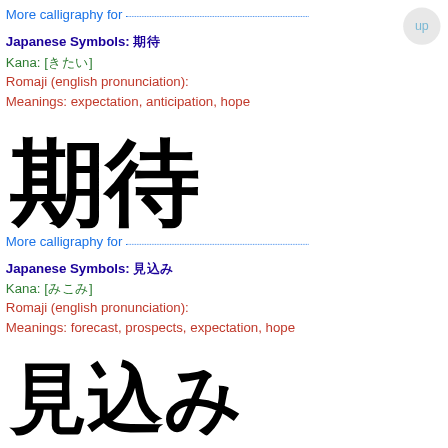More calligraphy for
Japanese Symbols: 期待
Kana: [きたい]
Romaji (english pronunciation):
Meanings: expectation, anticipation, hope
[Figure (illustration): Large calligraphy brush strokes of Japanese kanji characters 期待 (expectation/hope) in black ink on white background]
More calligraphy for
Japanese Symbols: 見込み
Kana: [みこみ]
Romaji (english pronunciation):
Meanings: forecast, prospects, expectation, hope
[Figure (illustration): Large calligraphy brush strokes of Japanese kanji characters 見込み (forecast/prospects/hope) in black ink on white background]